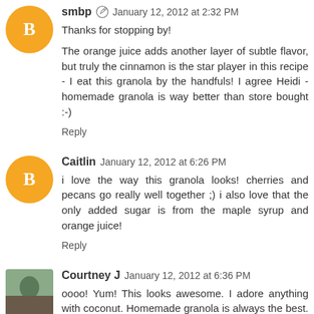smbp · January 12, 2012 at 2:32 PM
Thanks for stopping by!
The orange juice adds another layer of subtle flavor, but truly the cinnamon is the star player in this recipe - I eat this granola by the handfuls! I agree Heidi - homemade granola is way better than store bought :-)
Reply
Caitlin January 12, 2012 at 6:26 PM
i love the way this granola looks! cherries and pecans go really well together ;) i also love that the only added sugar is from the maple syrup and orange juice!
Reply
Courtney J January 12, 2012 at 6:36 PM
oooo! Yum! This looks awesome. I adore anything with coconut. Homemade granola is always the best. Looking forward to trying this recipe asap :)